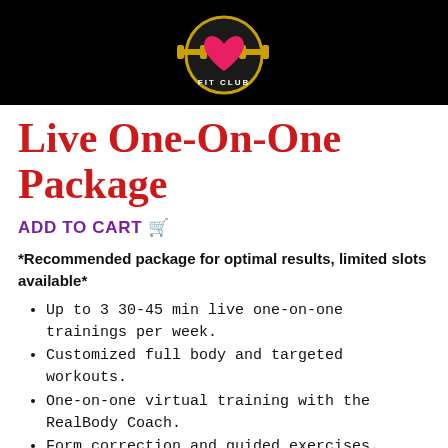[Figure (logo): Fit Club logo — circular emblem with pink heart and gold dumbbells on black background, text 'FIT CLUB']
Live One-On-One Package
ADD TO CART 🛒
*Recommended package for optimal results, limited slots available*
Up to 3 30-45 min live one-on-one trainings per week.
Customized full body and targeted workouts.
One-on-one virtual training with the RealBody Coach.
Form correction and guided exercises.
Intimate personal training from the comfort of your home.